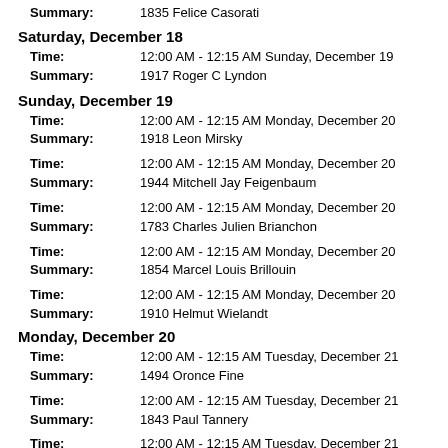Summary: 1835 Felice Casorati
Saturday, December 18
Time: 12:00 AM - 12:15 AM Sunday, December 19 | Summary: 1917 Roger C Lyndon
Sunday, December 19
Time: 12:00 AM - 12:15 AM Monday, December 20 | Summary: 1918 Leon Mirsky
Time: 12:00 AM - 12:15 AM Monday, December 20 | Summary: 1944 Mitchell Jay Feigenbaum
Time: 12:00 AM - 12:15 AM Monday, December 20 | Summary: 1783 Charles Julien Brianchon
Time: 12:00 AM - 12:15 AM Monday, December 20 | Summary: 1854 Marcel Louis Brillouin
Time: 12:00 AM - 12:15 AM Monday, December 20 | Summary: 1910 Helmut Wielandt
Monday, December 20
Time: 12:00 AM - 12:15 AM Tuesday, December 21 | Summary: 1494 Oronce Fine
Time: 12:00 AM - 12:15 AM Tuesday, December 21 | Summary: 1843 Paul Tannery
Time: 12:00 AM - 12:15 AM Tuesday, December 21 | Summary: 1648 Tommaso Ceva